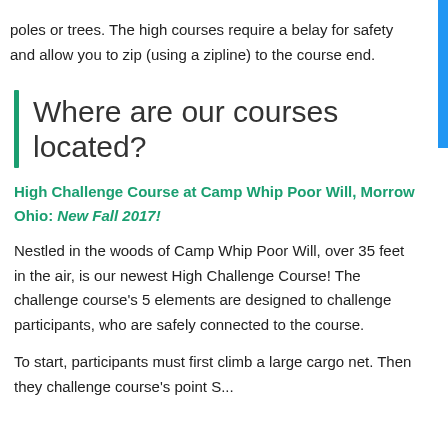poles or trees. The high courses require a belay for safety and allow you to zip (using a zipline) to the course end.
Where are our courses located?
High Challenge Course at Camp Whip Poor Will, Morrow Ohio: New Fall 2017!
Nestled in the woods of Camp Whip Poor Will, over 35 feet in the air,  is our newest High Challenge Course! The challenge course's 5 elements are designed to challenge participants, who are safely connected to the course.
To start, participants must first climb a large cargo net. Then they challenge course's 5 elements...